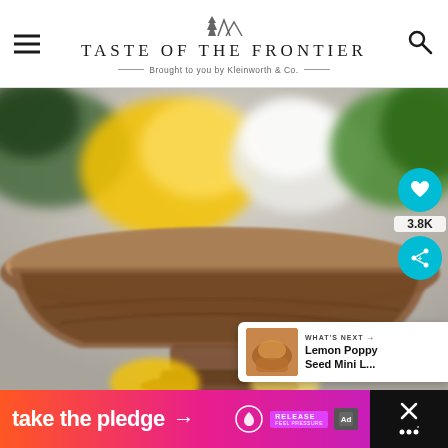TASTE OF THE FRONTIER — Brought to you by Kleinworth & Co.
[Figure (photo): A wooden pedestal bowl/tray filled with lemons, white cauliflower, and green herbs/plants, on a light gray background. Close-up lifestyle food photography with shallow depth of field.]
3.8K
WHAT'S NEXT → Lemon Poppy Seed Mini L...
[Figure (photo): Small thumbnail image of Lemon Poppy Seed Mini Loaves next to a 'What's Next' card.]
take the pledge →